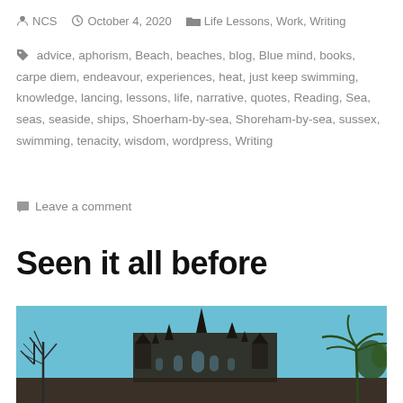NCS  October 4, 2020  Life Lessons, Work, Writing
advice, aphorism, Beach, beaches, blog, Blue mind, books, carpe diem, endeavour, experiences, heat, just keep swimming, knowledge, lancing, lessons, life, narrative, quotes, Reading, Sea, seas, seaside, ships, Shoerham-by-sea, Shoreham-by-sea, sussex, swimming, tenacity, wisdom, wordpress, Writing
Leave a comment
Seen it all before
[Figure (photo): Gothic cathedral/church building photographed from below against a blue sky, with bare trees on the left and palm trees on the right]